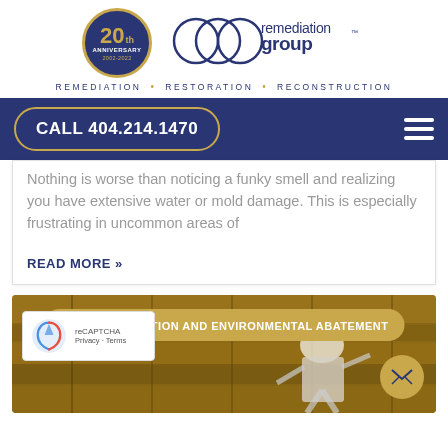[Figure (logo): Remediation Group 20th Anniversary logo with linked circles and tagline: REMEDIATION • RESTORATION • RECONSTRUCTION]
CALL 404.214.1470
Nothing is worse than noticing a funky smell and realizing you have extensive water or mold damage. This is especially frustrating in uncommon areas of
READ MORE »
[Figure (photo): Person in protective suit working on mold remediation on wooden ceiling/beams]
MOLD REMEDIATION AND ENVIRONMENTAL ABATEMENT